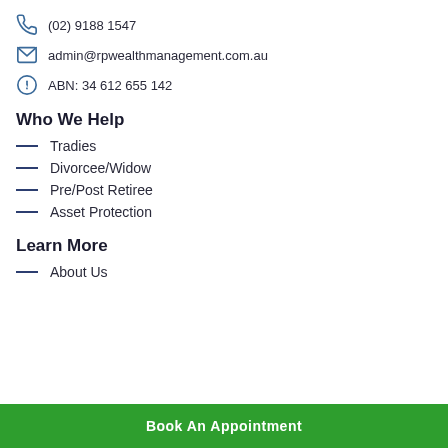(02) 9188 1547
admin@rpwealthmanagement.com.au
ABN: 34 612 655 142
Who We Help
Tradies
Divorcee/Widow
Pre/Post Retiree
Asset Protection
Learn More
About Us
Book An Appointment